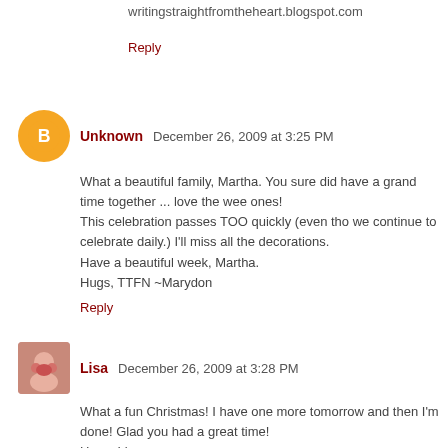writingstraightfromtheheart.blogspot.com
Reply
Unknown December 26, 2009 at 3:25 PM
What a beautiful family, Martha. You sure did have a grand time together ... love the wee ones!
This celebration passes TOO quickly (even tho we continue to celebrate daily.) I'll miss all the decorations.
Have a beautiful week, Martha.
Hugs, TTFN ~Marydon
Reply
Lisa December 26, 2009 at 3:28 PM
What a fun Christmas! I have one more tomorrow and then I'm done! Glad you had a great time!
Hugs, Lisa
Reply